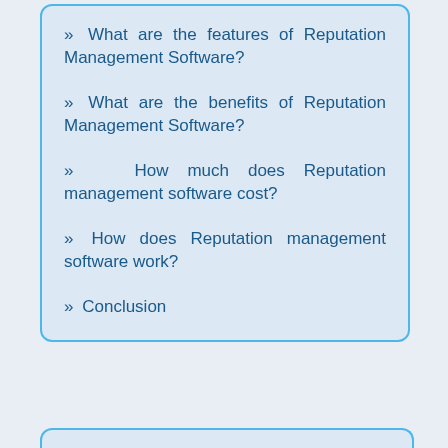» What are the features of Reputation Management Software?
» What are the benefits of Reputation Management Software?
» How much does Reputation management software cost?
» How does Reputation management software work?
» Conclusion